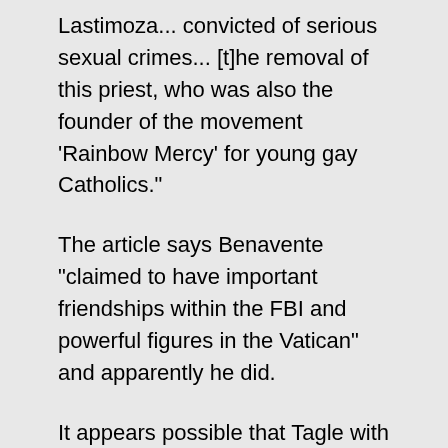Lastimoza... convicted of serious sexual crimes... [t]he removal of this priest, who was also the founder of the movement 'Rainbow Mercy' for young gay Catholics."
The article says Benavente "claimed to have important friendships within the FBI and powerful figures in the Vatican" and apparently he did.
It appears possible that Tagle with his close association to Francis may have gotten Francis to send Archbishop Savio Hon Tai-Fai as his personal representative to Guam to fix the situation.
The article says Archbishop Hon fixed the situation by